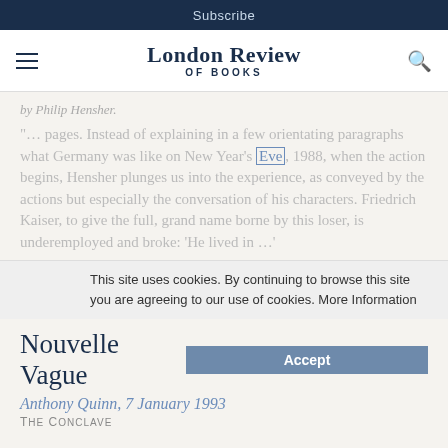Subscribe
London Review of Books
by Philip Hensher.
"… pages. Instead of explaining in a few orientating paragraphs what Germany was like on New Year's Eve, 1988, when the action begins, Hensher plunges us into the experience, as conveyed by the actions but especially the conversation of his characters. Friedrich Kaiser, to give the full, grand name borne by this loser, is underemployed and broke: 'He lived in …'
This site uses cookies. By continuing to browse this site you are agreeing to our use of cookies. More Information
Nouvelle Vague
Accept
Anthony Quinn, 7 January 1993
THE CONCLAVE